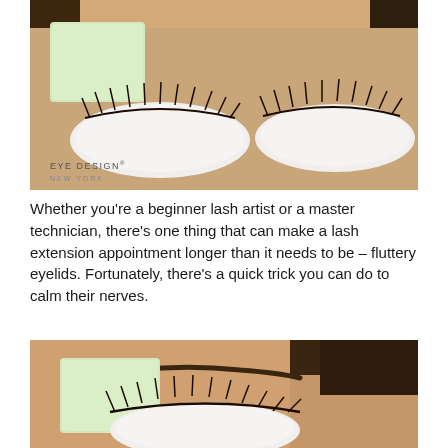[Figure (photo): Close-up photo of a woman's closed eyes with long lash extensions, white under-eye gel pads placed beneath both eyes, and a pale green square foam pad placed over the left eyebrow area. EYE DESIGN NEW YORK logo visible in lower left.]
Whether you're a beginner lash artist or a master technician, there's one thing that can make a lash extension appointment longer than it needs to be – fluttery eyelids. Fortunately, there's a quick trick you can do to calm their nerves.
[Figure (photo): Close-up photo of a woman's left eye closed with long lash extensions and a white under-eye pad, with a pale green square foam pad being placed over the eyebrow area. The technician's hand is partially visible.]